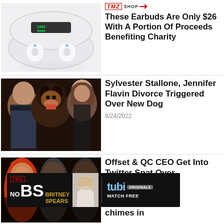[Figure (photo): Wireless earbuds in an open white charging case with green LED display]
[Figure (logo): TMZ Shop logo in red]
These Earbuds Are Only $26 With A Portion Of Proceeds Benefiting Charity
[Figure (photo): Sylvester Stallone, a Rottweiler dog, and Jennifer Flavin in a group photo]
Sylvester Stallone, Jennifer Flavin Divorce Triggered Over New Dog
8/24/2022
[Figure (photo): Cardi B, Offset, and QC CEO in a group photo]
Offset & QC CEO Get Into Twitter Spat Over
chimes in
[Figure (screenshot): TMZ No BS Britney Spears advertisement banner with Tubi Originals Watch Free]